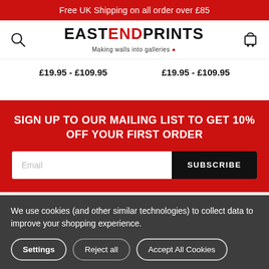Free UK Shipping on all order over £85
[Figure (logo): East End Prints logo with tagline 'Making walls into galleries']
£19.95 - £109.95    £19.95 - £109.95
SIGN UP TO OUR MAILING LIST TO GET 10% OFF YOUR FIRST ORDER
Email  SUBSCRIBE
Our Categories
We use cookies (and other similar technologies) to collect data to improve your shopping experience.
Settings   Reject all   Accept All Cookies